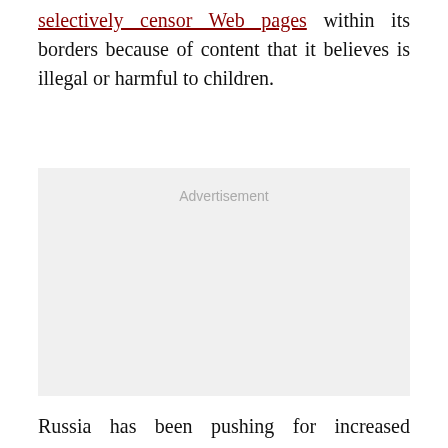selectively censor Web pages within its borders because of content that it believes is illegal or harmful to children.
[Figure (other): Advertisement placeholder box with light gray background and 'Advertisement' label in gray text]
Russia has been pushing for increased controls over the Internet, proposing amendments to a UN telecommunications treaty earlier that year that said...